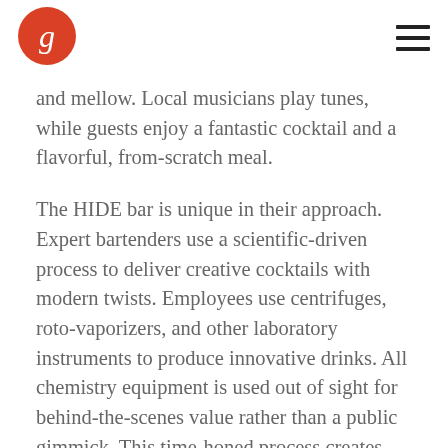g [logo]
and mellow. Local musicians play tunes, while guests enjoy a fantastic cocktail and a flavorful, from-scratch meal.
The HIDE bar is unique in their approach. Expert bartenders use a scientific-driven process to deliver creative cocktails with modern twists. Employees use centrifuges, roto-vaporizers, and other laboratory instruments to produce innovative drinks. All chemistry equipment is used out of sight for behind-the-scenes value rather than a public gimmick. This time-honed process creates tasty, eye-appealing cocktails.